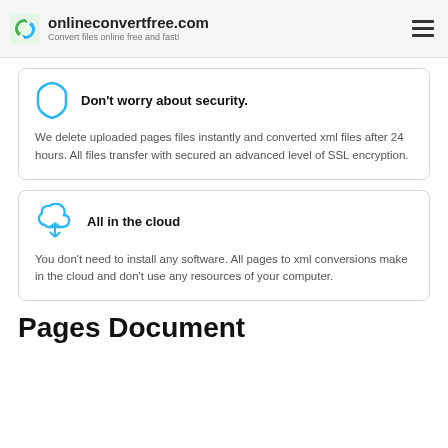onlineconvertfree.com — Convert files online free and fast!
Don't worry about security.
We delete uploaded pages files instantly and converted xml files after 24 hours. All files transfer with secured an advanced level of SSL encryption.
All in the cloud
You don't need to install any software. All pages to xml conversions make in the cloud and don't use any resources of your computer.
Pages Document